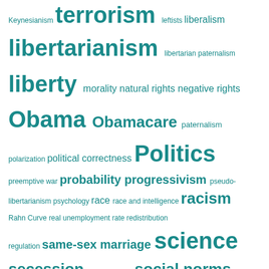[Figure (other): Tag cloud of political and economic terms in teal/dark cyan color, with font size varying by frequency/importance. Terms include: Keynesianism, terrorism, leftists, libertarianism, libertarian paternalism, liberty, morality, natural rights, negative rights, Obama, Obamacare, paternalism, polarization, political correctness, Politics, preemptive war, probability, progressivism, pseudo-libertarianism, psychology, race, race and intelligence, racism, Rahn Curve, real unemployment rate, redistribution, regulation, same-sex marriage, science, secession, social justice, social norms, social welfare, society, statism, Supreme Court, Trump, unemployment, utilitarianism, welfare state]